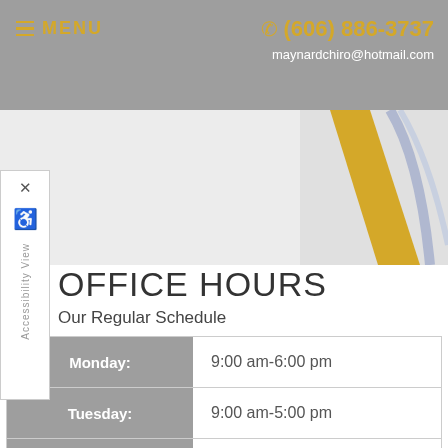MENU  (606) 886-3737  maynardchiro@hotmail.com
[Figure (map): Partial map view showing road intersections with a yellow road and blue road visible in upper right]
Accessibility View
OFFICE HOURS
Our Regular Schedule
| Day | Hours |
| --- | --- |
| Monday: | 9:00 am-6:00 pm |
| Tuesday: | 9:00 am-5:00 pm |
| Wednesday: | 9:00 am-6:00 pm |
| Thursday: | 9:00 am-5:00 pm |